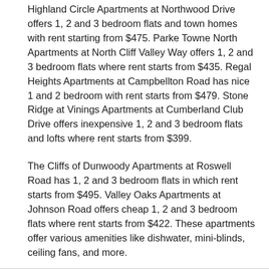Highland Circle Apartments at Northwood Drive offers 1, 2 and 3 bedroom flats and town homes with rent starting from $475. Parke Towne North Apartments at North Cliff Valley Way offers 1, 2 and 3 bedroom flats where rent starts from $435. Regal Heights Apartments at Campbellton Road has nice 1 and 2 bedroom with rent starts from $479. Stone Ridge at Vinings Apartments at Cumberland Club Drive offers inexpensive 1, 2 and 3 bedroom flats and lofts where rent starts from $399.
The Cliffs of Dunwoody Apartments at Roswell Road has 1, 2 and 3 bedroom flats in which rent starts from $495. Valley Oaks Apartments at Johnson Road offers cheap 1, 2 and 3 bedroom flats where rent starts from $422. These apartments offer various amenities like dishwater, mini-blinds, ceiling fans, and more.